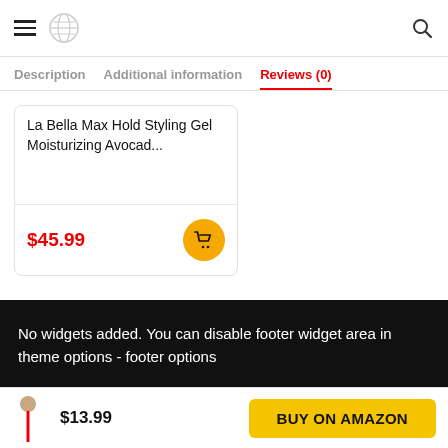Navigation header with hamburger menu, globe icon, and search icon
Description  Additional information  Reviews (0)
La Bella Max Hold Styling Gel Moisturizing Avocad...
$45.99
No widgets added. You can disable footer widget area in theme options - footer options
$13.99  BUY ON AMAZON